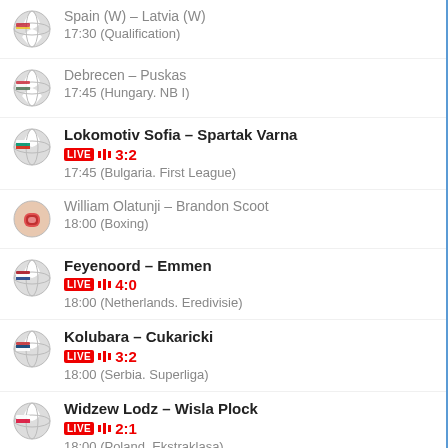Spain (W) – Latvia (W)
17:30 (Qualification)
Debrecen – Puskas
17:45 (Hungary. NB I)
Lokomotiv Sofia – Spartak Varna
LIVE 3:2
17:45 (Bulgaria. First League)
William Olatunji – Brandon Scoot
18:00 (Boxing)
Feyenoord – Emmen
LIVE 4:0
18:00 (Netherlands. Eredivisie)
Kolubara – Cukaricki
LIVE 3:2
18:00 (Serbia. Superliga)
Widzew Lodz – Wisla Plock
LIVE 2:1
18:00 (Poland. Ekstraklasa)
Al Nassr – Al-Wehda Mecca
LIVE 1:0
18:00 (Saudi Arabia. Premier League)
Abha – Al-Raed
LIVE 2:1
18:00 (Saudi Arabia. Premier League)
Rentistas – Cerrito
LIVE 3:0
18:00 (Uruguay. Primera Division)
El Sharqiya – National Bank